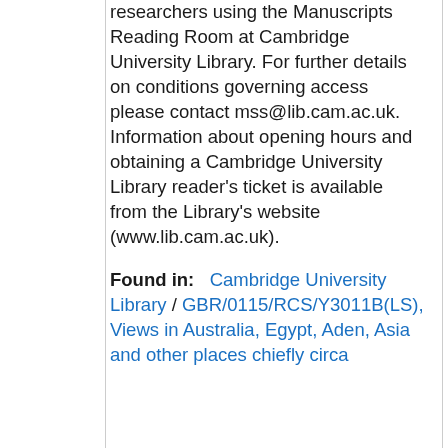researchers using the Manuscripts Reading Room at Cambridge University Library. For further details on conditions governing access please contact mss@lib.cam.ac.uk. Information about opening hours and obtaining a Cambridge University Library reader's ticket is available from the Library's website (www.lib.cam.ac.uk).
Found in: Cambridge University Library / GBR/0115/RCS/Y3011B(LS), Views in Australia, Egypt, Aden, Asia and other places chiefly circa